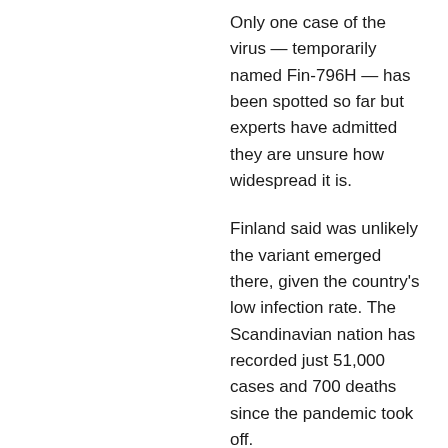Only one case of the virus — temporarily named Fin-796H — has been spotted so far but experts have admitted they are unsure how widespread it is.
Finland said was unlikely the variant emerged there, given the country's low infection rate. The Scandinavian nation has recorded just 51,000 cases and 700 deaths since the pandemic took off.
Finnish researchers who made the discovery said the variant